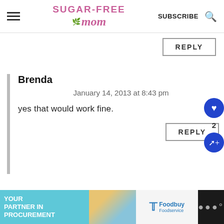Sugar-Free Mom - SUBSCRIBE
REPLY
Brenda
January 14, 2013 at 8:43 pm
yes that would work fine.
REPLY
[Figure (infographic): Advertisement banner: 'YOUR PARTNER IN PROCUREMENT' with Foodbuy Foodservice logo on light blue and dark background]